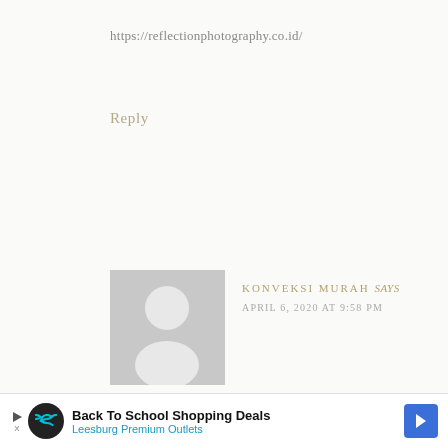https://reflectionphotography.co.id/
Reply
[Figure (illustration): Default user avatar — grey square with white silhouette of a person (head and shoulders)]
KONVEKSI MURAH says
APRIL 6, 2020 AT 9:58 PM
Pabrik Konveksi Baju Kaos & Poloshirt Distro Murah | Anugerah Garment : Produsen Konveksi Baju, Konveksi Kaos, Kemeja shirt polos, Sablon Kaos,
Back To School Shopping Deals
Leesburg Premium Outlets